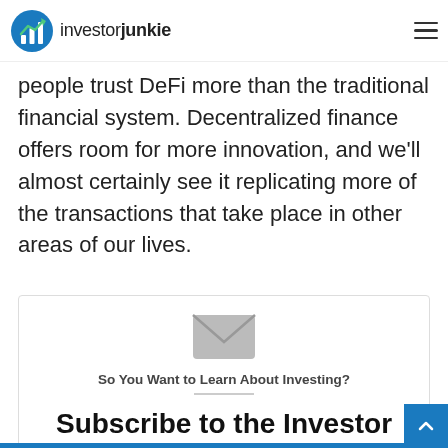investorjunkie
important part of our financial system. Because of the accessibility it provides, many people trust DeFi more than the traditional financial system. Decentralized finance offers room for more innovation, and we'll almost certainly see it replicating more of the transactions that take place in other areas of our lives.
[Figure (infographic): Newsletter signup box with envelope icon, tagline 'So You Want to Learn About Investing?', and heading 'Subscribe to the Investor Junkie Newsletter!']